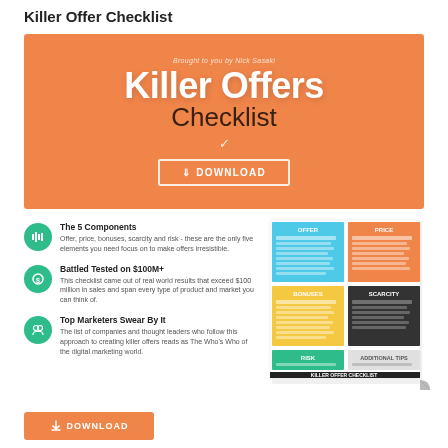Killer Offer Checklist
[Figure (infographic): Orange hero banner with 'Killer Offers Checklist' title, brought to you by Nick Sasaki subtitle, and a DOWNLOAD button with border]
The 5 Components — Offer, price, bonuses, scarcity and risk - these are the only five elements you need focus on to make offers irresistible.
Battled Tested on $100M+ — This checklist came out of real world results that exceed $100 million in sales and span every type of product and market you can think of.
Top Marketers Swear By It — The list of companies and thought leaders who follow this approach to creating killer offers reads as The Who's Who of the digital marketing world.
[Figure (illustration): Checklist document preview showing sections: OFFER (blue), PRICE (orange), BONUSES (yellow), SCARCITY (dark), RISK (green), ADDITIONAL TIPS - labeled KILLER OFFER CHECKLIST at bottom]
[Figure (infographic): Orange download button with upload/download icon and text DOWNLOAD]